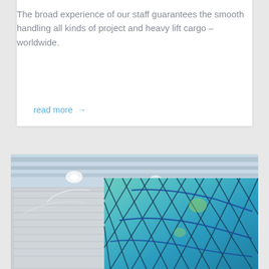The broad experience of our staff guarantees the smooth handling all kinds of project and heavy lift cargo – worldwide.
read more →
[Figure (photo): Cargo items wrapped in netting inside an aircraft hold — a blue/teal netted pallet on the right and a white wrapped pallet on the left, with aircraft interior ceiling visible above.]